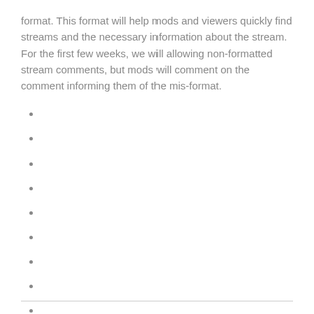format. This format will help mods and viewers quickly find streams and the necessary information about the stream. For the first few weeks, we will allowing non-formatted stream comments, but mods will comment on the comment informing them of the mis-format.